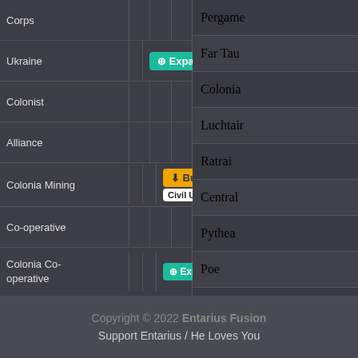| Name | Col2 | Col3 | Col4 |
| --- | --- | --- | --- |
| Corps |  |  |  |
| Ukraine |  | ⊕ Expansion |  |
| Colonist |  |  |  |
| Alliance |  |  |  |
| Colonia Mining |  |  | ⬇ Bust / Civil Unres |
| Co-operative |  |  |  |
| Colonia Co-operative |  |  | ⊕ Expansi |
| Societas | ⊕ Expansion |  |  |
| Eruditorum de Civitas Dei |  |  |  |
| No Look Here Gang |  |  | ⬇ Bust |
Pergame
Far Tau
Colonia
Luchtair
Ratrai
Central
Pythea
Poe
Mriya
Signali
Diggidi
Meretri
Dubbuen
Pyrrha
Lux Cae
Copyright © 2022 Entarius Fusion
Support Entarius / He Loves You